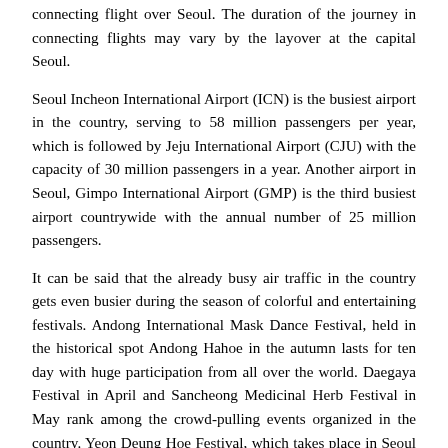connecting flight over Seoul. The duration of the journey in connecting flights may vary by the layover at the capital Seoul.
Seoul Incheon International Airport (ICN) is the busiest airport in the country, serving to 58 million passengers per year, which is followed by Jeju International Airport (CJU) with the capacity of 30 million passengers in a year. Another airport in Seoul, Gimpo International Airport (GMP) is the third busiest airport countrywide with the annual number of 25 million passengers.
It can be said that the already busy air traffic in the country gets even busier during the season of colorful and entertaining festivals. Andong International Mask Dance Festival, held in the historical spot Andong Hahoe in the autumn lasts for ten day with huge participation from all over the world. Daegaya Festival in April and Sancheong Medicinal Herb Festival in May rank among the crowd-pulling events organized in the country. Yeon Deung Hoe Festival, which takes place in Seoul to celebrate the birth of Buddha, is held together with numerous events. The festival, where the lanterns illuminate the entire city enchantingly, wraps the city into a vigorous atmosphere. Hi Seoul Festival, Jarasum International Jazz Festival and Bonghwa Eun-uh Sweetfish Festival are other remarkable organizations held in the country, attracting a considerable number of visitors.